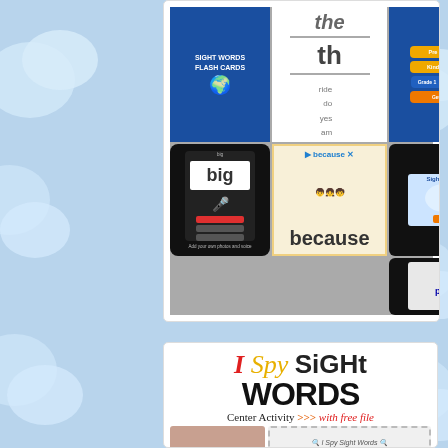[Figure (screenshot): App screenshot collage showing Sight Words Flash Cards app interface with phone mockups, word cards showing 'big', 'because', 'the', 'th', 'ride', 'do', 'yes', 'am', and app store UI elements]
[Figure (illustration): I Spy Sight Words Center Activity promotional card with colorful title text, subtitle 'Center Activity >>> with free file', and a preview image strip at the bottom]